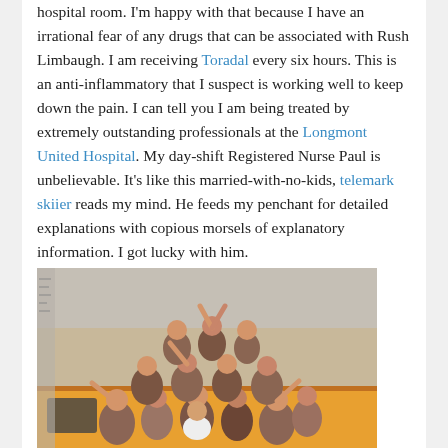hospital room.  I'm happy with that because I have an irrational fear of any drugs that can be associated with Rush Limbaugh.  I am receiving Toradal every six hours.  This is an anti-inflammatory that I suspect is working well to keep down the pain.  I can tell you I am being treated by extremely outstanding professionals at the Longmont United Hospital.  My day-shift Registered Nurse Paul is unbelievable.  It's like this married-with-no-kids, telemark skiier reads my mind.  He feeds my penchant for detailed explanations with copious morsels of explanatory information.  I got lucky with him.
[Figure (photo): A vintage photograph showing a group of people, mostly children and young people, piled on top of what appears to be a school bus or vehicle. The people are posed in a pyramid formation with arms raised, taken outdoors.]